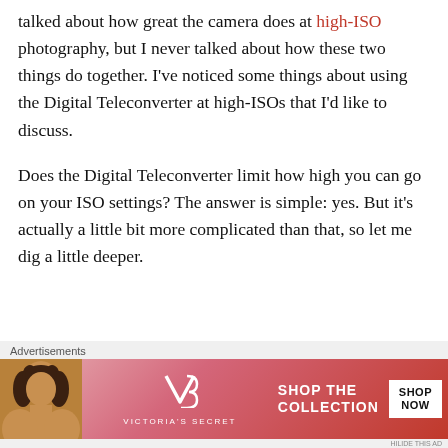talked about how great the camera does at high-ISO photography, but I never talked about how these two things do together. I've noticed some things about using the Digital Teleconverter at high-ISOs that I'd like to discuss.
Does the Digital Teleconverter limit how high you can go on your ISO settings? The answer is simple: yes. But it's actually a little bit more complicated than that, so let me dig a little deeper.
[Figure (other): Victoria's Secret advertisement banner with a woman's photo on the left, VS logo in center, 'SHOP THE COLLECTION' text, and 'SHOP NOW' button on right]